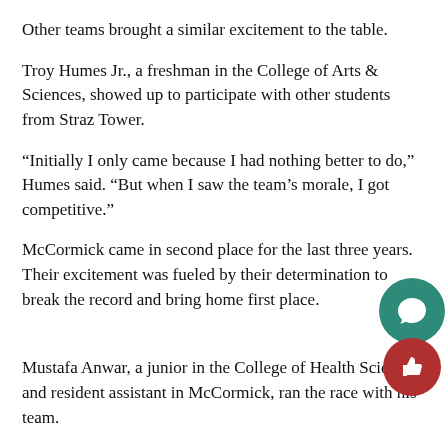Other teams brought a similar excitement to the table.
Troy Humes Jr., a freshman in the College of Arts & Sciences, showed up to participate with other students from Straz Tower.
“Initially I only came because I had nothing better to do,” Humes said. “But when I saw the team’s morale, I got competitive.”
McCormick came in second place for the last three years. Their excitement was fueled by their determination to break the record and bring home first place.
Mustafa Anwar, a junior in the College of Health Sciences and resident assistant in McCormick, ran the race with his team.
“This race is the kick-off of an amazing effort by our team to w… in the Golden Eagle Games,” Anwar said. “We’re here to win and stop the second place madness.”
McCormick failed to bring home the gold. Mashuda, an underdog in…